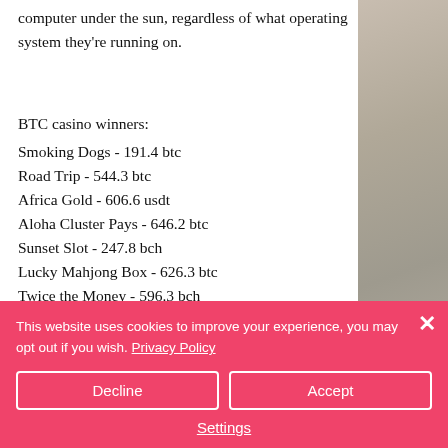computer under the sun, regardless of what operating system they're running on.
BTC casino winners:
Smoking Dogs - 191.4 btc
Road Trip - 544.3 btc
Africa Gold - 606.6 usdt
Aloha Cluster Pays - 646.2 btc
Sunset Slot - 247.8 bch
Lucky Mahjong Box - 626.3 btc
Twice the Money - 596.3 bch
Diamond Cherries - 553.3 eth
The Slotfather 2 - 182.8 btc
Goblin's Cave - 274 btc
This website uses cookies to improve your experience, you may opt out if you wish. Privacy Policy
Decline
Accept
Settings